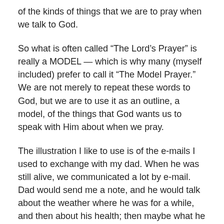of the kinds of things that we are to pray when we talk to God.
So what is often called “The Lord’s Prayer” is really a MODEL — which is why many (myself included) prefer to call it “The Model Prayer.”  We are not merely to repeat these words to God, but we are to use it as an outline, a model, of the things that God wants us to speak with Him about when we pray.
The illustration I like to use is of the e-mails I used to exchange with my dad. When he was still alive, we communicated a lot by e-mail. Dad would send me a note, and he would talk about the weather where he was for a while, and then about his health; then maybe what he had going in his garden. If it was football season we’d always talk about the latest OU game, and he’d ask about Cheryl